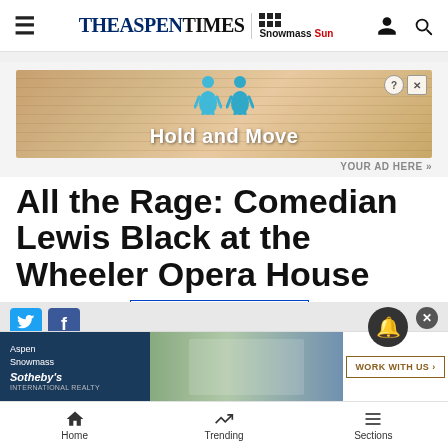THE ASPEN TIMES | Snowmass Sun — navigation header
[Figure (screenshot): Advertisement banner showing animated figures with text 'Hold and Move' on a wooden background]
YOUR AD HERE »
All the Rage: Comedian Lewis Black at the Wheeler Opera House
Activities & Events  FOLLOW ACTIVITIES-EVENTS  | February 2, 20
[Figure (screenshot): Aspen Snowmass Sotheby's real estate advertisement with property photo and 'WORK WITH US' button]
Home  Trending  Sections